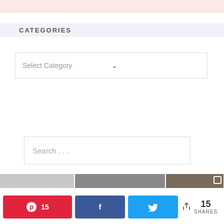[Figure (other): Pink/blush colored banner strip at the top of the page]
CATEGORIES
[Figure (screenshot): Select Category dropdown box with chevron arrow]
[Figure (screenshot): Search input box with placeholder text 'Search . . .']
[Figure (photo): Three partial images in a strip: gray surface, dark wood surface, brown subject with copy icon]
[Figure (infographic): Social share bar with Pinterest (15), Facebook, Twitter buttons and 15 SHARES count]